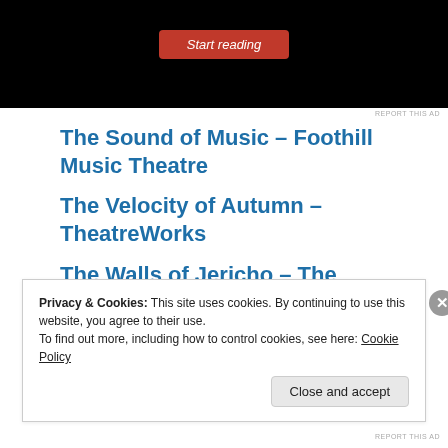[Figure (screenshot): Black ad banner with a red 'Start reading' button in italic text]
REPORT THIS AD
The Sound of Music – Foothill Music Theatre
The Velocity of Autumn – TheatreWorks
The Walls of Jericho – The Pear
The War of the Worlds – Stanford
Privacy & Cookies: This site uses cookies. By continuing to use this website, you agree to their use.
To find out more, including how to control cookies, see here: Cookie Policy
Close and accept
REPORT THIS AD